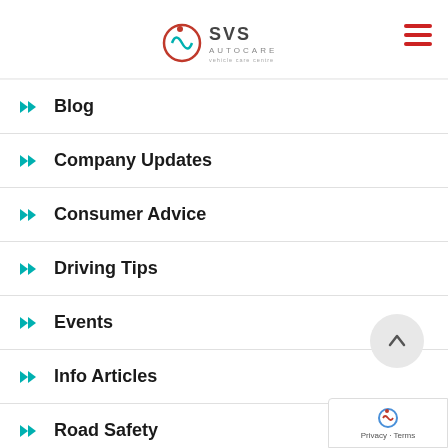SVS Autocare logo
Blog
Company Updates
Consumer Advice
Driving Tips
Events
Info Articles
Road Safety
Vehicle Maintenance